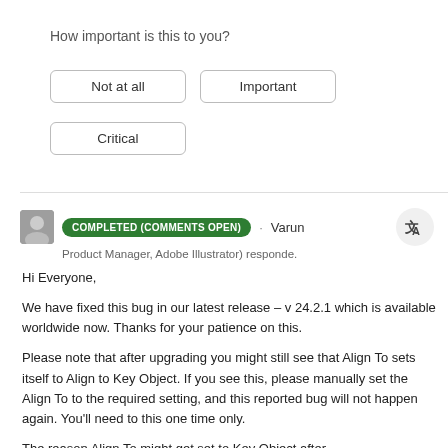How important is this to you?
Not at all
Important
Critical
COMPLETED (COMMENTS OPEN) · Varun
Product Manager, Adobe Illustrator) responde.
Hi Everyone,

We have fixed this bug in our latest release – v 24.2.1 which is available worldwide now. Thanks for your patience on this.

Please note that after upgrading you might still see that Align To sets itself to Align to Key Object. If you see this, please manually set the Align To to the required setting, and this reported bug will not happen again. You'll need to this one time only.

The reason Align To might get set to Key Object after